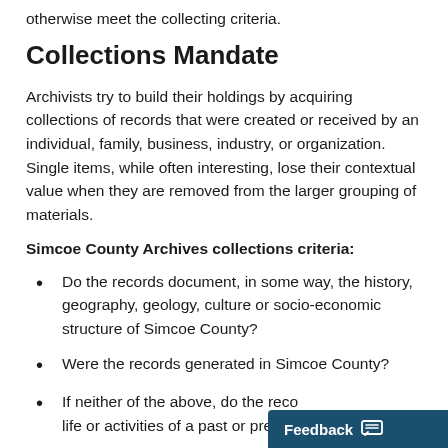otherwise meet the collecting criteria.
Collections Mandate
Archivists try to build their holdings by acquiring collections of records that were created or received by an individual, family, business, industry, or organization. Single items, while often interesting, lose their contextual value when they are removed from the larger grouping of materials.
Simcoe County Archives collections criteria:
Do the records document, in some way, the history, geography, geology, culture or socio-economic structure of Simcoe County?
Were the records generated in Simcoe County?
If neither of the above, do the records document the life or activities of a past or present…